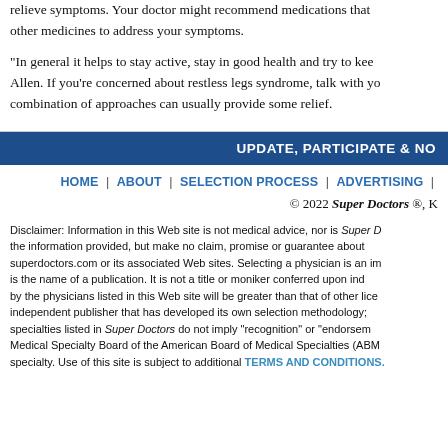relieve symptoms. Your doctor might recommend medications that other medicines to address your symptoms.
“In general it helps to stay active, stay in good health and try to keep Allen. If you’re concerned about restless legs syndrome, talk with yo combination of approaches can usually provide some relief.
UPDATE, PARTICIPATE & NO
HOME | ABOUT | SELECTION PROCESS | ADVERTISING |
© 2022 Super Doctors ®, K
Disclaimer: Information in this Web site is not medical advice, nor is Super D the information provided, but make no claim, promise or guarantee about superdoctors.com or its associated Web sites. Selecting a physician is an im is the name of a publication. It is not a title or moniker conferred upon ind by the physicians listed in this Web site will be greater than that of other lice independent publisher that has developed its own selection methodology; specialties listed in Super Doctors do not imply "recognition" or "endorsem Medical Specialty Board of the American Board of Medical Specialties (ABM specialty. Use of this site is subject to additional TERMS AND CONDITIONS.